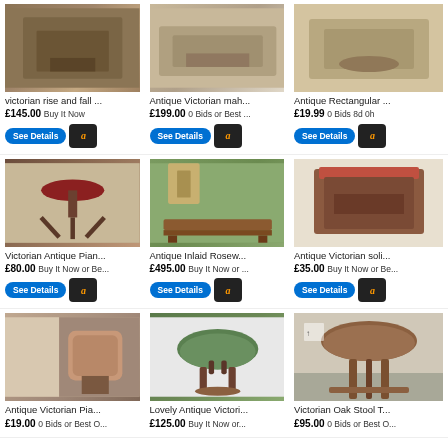[Figure (photo): Victorian rise and fall furniture item - antique wooden piece]
victorian rise and fall ...
£145.00 Buy It Now
[Figure (photo): Antique Victorian mahogany furniture]
Antique Victorian mah...
£199.00 0 Bids or Best ...
[Figure (photo): Antique Rectangular furniture item]
Antique Rectangular ...
£19.99 0 Bids 8d 0h
[Figure (photo): Victorian Antique Piano stool with round red seat on tripod legs]
Victorian Antique Pian...
£80.00 Buy It Now or Be...
[Figure (photo): Antique Inlaid Rosewood bench against green wall]
Antique Inlaid Rosew...
£495.00 Buy It Now or ...
[Figure (photo): Antique Victorian solid wood box/seat with red upholstered top]
Antique Victorian  soli...
£35.00 Buy It Now or Be...
[Figure (photo): Antique Victorian Piano stool - wooden chair detail]
Antique Victorian Pia...
£19.00 0 Bids or Best O...
[Figure (photo): Lovely Antique Victorian round stool with green upholstery on ornate legs]
Lovely Antique Victori...
£125.00 Buy It Now or...
[Figure (photo): Victorian Oak Stool with tapestry top on tripod legs]
Victorian Oak Stool T...
£95.00 0 Bids or Best O...